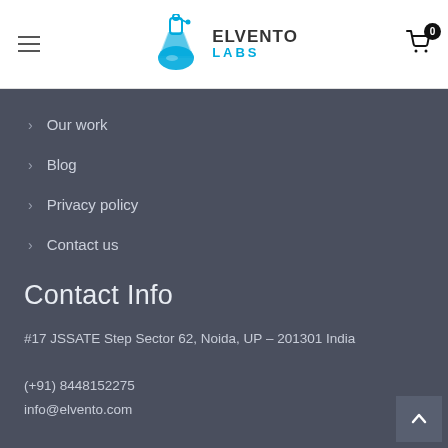Elvento Labs
Our work
Blog
Privacy policy
Contact us
Contact Info
#17 JSSATE Step Sector 62, Noida, UP – 201301 India
(+91) 8448152275
info@elvento.com